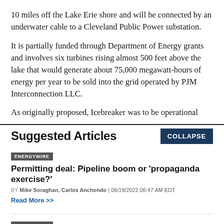10 miles off the Lake Erie shore and will be connected by an underwater cable to a Cleveland Public Power substation.
It is partially funded through Department of Energy grants and involves six turbines rising almost 500 feet above the lake that would generate about 75,000 megawatt-hours of energy per year to be sold into the grid operated by PJM Interconnection LLC.
As originally proposed, Icebreaker was to be operational
Suggested Articles
ENERGYWIRE
Permitting deal: Pipeline boom or ‘propaganda exercise?’
BY Mike Soraghan, Carlos Anchondo | 08/19/2022 06:47 AM EDT
Read More >>
ENERGYWIRE
Climate law may undermine Biden court win on oil leasing